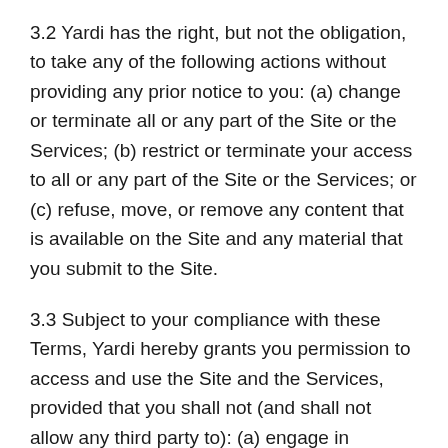3.2 Yardi has the right, but not the obligation, to take any of the following actions without providing any prior notice to you: (a) change or terminate all or any part of the Site or the Services; (b) restrict or terminate your access to all or any part of the Site or the Services; or (c) refuse, move, or remove any content that is available on the Site and any material that you submit to the Site.
3.3 Subject to your compliance with these Terms, Yardi hereby grants you permission to access and use the Site and the Services, provided that you shall not (and shall not allow any third party to): (a) engage in commercial use of the Site or any content on the Site; (b) access or use any portion of the Site if you are a direct or indirect competitor of Yardi, including without limitation companies involved in data research, internet listing services, dissemination of